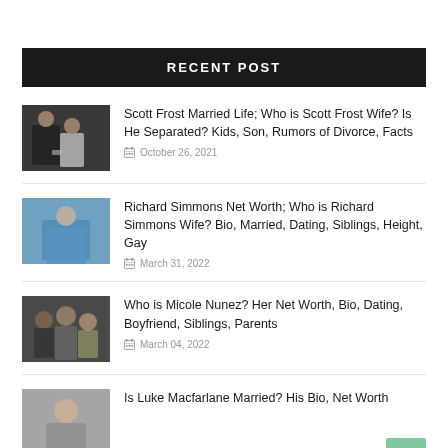RECENT POST
Scott Frost Married Life; Who is Scott Frost Wife? Is He Separated? Kids, Son, Rumors of Divorce, Facts — October 26, 2021
Richard Simmons Net Worth; Who is Richard Simmons Wife? Bio, Married, Dating, Siblings, Height, Gay — March 31, 2022
Who is Micole Nunez? Her Net Worth, Bio, Dating, Boyfriend, Siblings, Parents — March 04, 2022
Is Luke Macfarlane Married? His Bio, Net Worth…